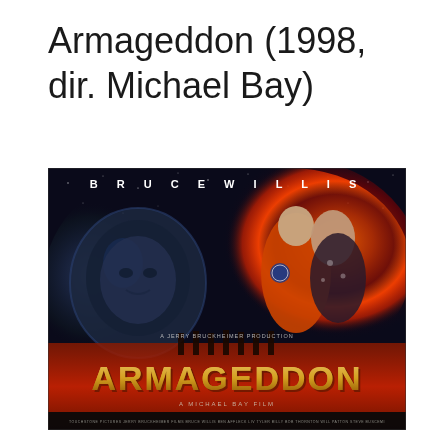Armageddon (1998, dir. Michael Bay)
[Figure (photo): Movie poster for Armageddon (1998). Left side shows Bruce Willis in a space helmet with a dark blue/purple tint. Right side shows a couple (astronaut in orange suit kissing a woman) surrounded by a fiery orange ring. Bottom center shows the word ARMAGEDDON in large metallic text with silhouettes of crew members walking. Text at top reads BRUCE WILLIS. Small subtitle reads A MICHAEL BAY FILM. Production credit text and cast credits at the bottom.]